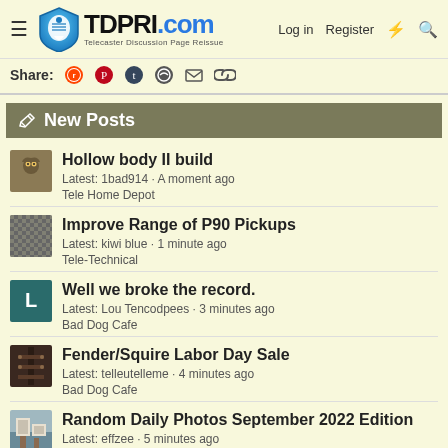TDPRI.com — Telecaster Discussion Page Reissue — Log in | Register
Share: (reddit) (pinterest) (tumblr) (whatsapp) (email) (link)
New Posts
Hollow body II build
Latest: 1bad914 · A moment ago
Tele Home Depot
Improve Range of P90 Pickups
Latest: kiwi blue · 1 minute ago
Tele-Technical
Well we broke the record.
Latest: Lou Tencodpees · 3 minutes ago
Bad Dog Cafe
Fender/Squire Labor Day Sale
Latest: telleutelleme · 4 minutes ago
Bad Dog Cafe
Random Daily Photos September 2022 Edition
Latest: effzee · 5 minutes ago